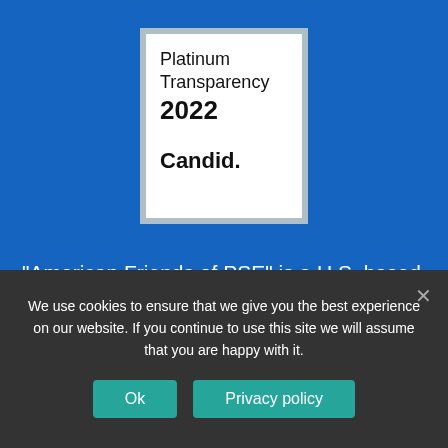[Figure (logo): Platinum Transparency 2022 Candid. badge — white background with grey border, text reads 'Platinum Transparency 2022' and 'Candid.']
“American Friends of PSE” is a U.S. based non-profit organization dedicated to building support within the U.S. for the Cambodia programs operated by Pour un Sourire d’Enfant (“PSE”). American Friends of PSE  Tax I.D.  (EIN) number is 45-4554563
We use cookies to ensure that we give you the best experience on our website. If you continue to use this site we will assume that you are happy with it.
Ok   Privacy policy